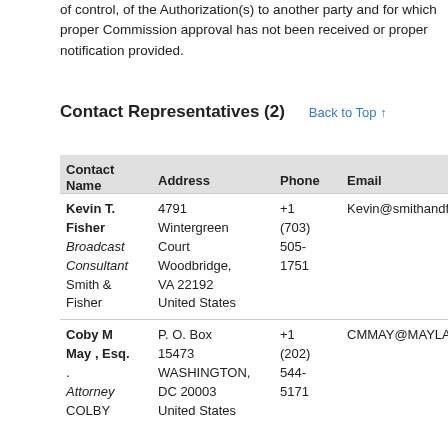of control, of the Authorization(s) to another party and for which proper Commission approval has not been received or proper notification provided.
Contact Representatives (2)
| Contact Name | Address | Phone | Email |
| --- | --- | --- | --- |
| Kevin T. Fisher
Broadcast Consultant
Smith & Fisher | 4791 Wintergreen Court
Woodbridge, VA 22192
United States | +1 (703) 505-1751 | Kevin@smithandfisher.com |
| Coby M May , Esq.
.
Attorney
COLBY | P. O. Box 15473
WASHINGTON, DC 20003
United States | +1 (202) 544-5171 | CMMAY@MAYLAWOFFICES. |